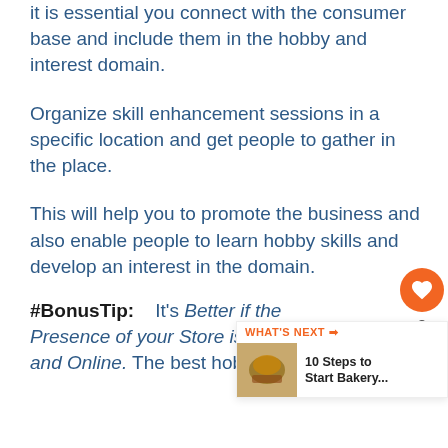it is essential you connect with the consumer base and include them in the hobby and interest domain.
Organize skill enhancement sessions in a specific location and get people to gather in the place.
This will help you to promote the business and also enable people to learn hobby skills and develop an interest in the domain.
#BonusTip: It's Better if the Presence of your Store is both Offline and Online. The best hobby shops don't